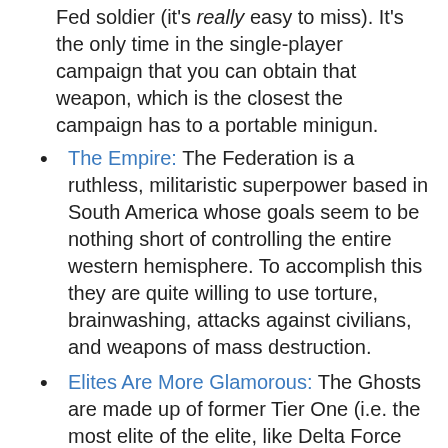Fed soldier (it's really easy to miss). It's the only time in the single-player campaign that you can obtain that weapon, which is the closest the campaign has to a portable minigun.
The Empire: The Federation is a ruthless, militaristic superpower based in South America whose goals seem to be nothing short of controlling the entire western hemisphere. To accomplish this they are quite willing to use torture, brainwashing, attacks against civilians, and weapons of mass destruction.
Elites Are More Glamorous: The Ghosts are made up of former Tier One (i.e. the most elite of the elite, like Delta Force and SEAL Team Six) United States Special Operations soldiers.
Excuse Plot: All of Latin America has banded together to fight the United States. Go forth and kill them for America!
Fallen States of America: The United States is no longer a superpower, just another country in the world. Its